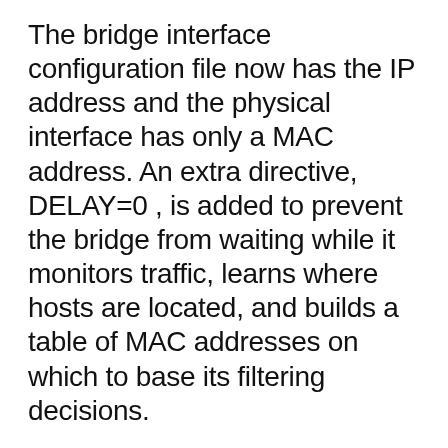The bridge interface configuration file now has the IP address and the physical interface has only a MAC address. An extra directive, DELAY=0 , is added to prevent the bridge from waiting while it monitors traffic, learns where hosts are located, and builds a table of MAC addresses on which to base its filtering decisions.
Bridge domain interface is a logical interface that allows bidirectional flow of traffic between a Layer-2 bridged network and a Layer-3 routed network. Ethernet Virtual Circuit (EVC) is an end-to-end representation of a single instance of a Layer-2 This article will describe creating bridge interface of ethernet. This makes that other machines in network can connect to virtual machines on KVM via network. CentOS 7: Bridge interface - Narrow Escape 4. Create a bridge interface (br0)